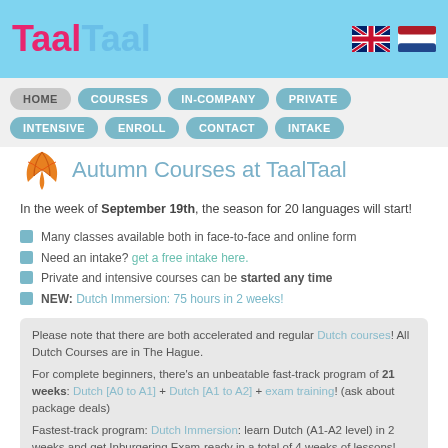TaalTaal
HOME
COURSES
IN-COMPANY
PRIVATE
INTENSIVE
ENROLL
CONTACT
INTAKE
Autumn Courses at TaalTaal
In the week of September 19th, the season for 20 languages will start!
Many classes available both in face-to-face and online form
Need an intake? get a free intake here.
Private and intensive courses can be started any time
NEW: Dutch Immersion: 75 hours in 2 weeks!
Please note that there are both accelerated and regular Dutch courses! All Dutch Courses are in The Hague. For complete beginners, there's an unbeatable fast-track program of 21 weeks: Dutch [A0 to A1] + Dutch [A1 to A2] + exam training! (ask about package deals) Fastest-track program: Dutch Immersion: learn Dutch (A1-A2 level) in 2 weeks and get Inburgering Exam-ready in a total of 4 weeks of lessons!